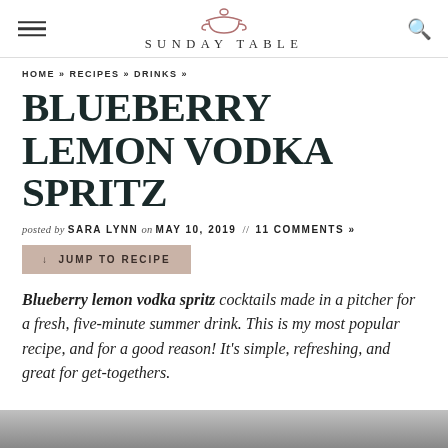SUNDAY TABLE
HOME » RECIPES » DRINKS »
BLUEBERRY LEMON VODKA SPRITZ
posted by SARA LYNN on MAY 10, 2019 // 11 COMMENTS »
↓ JUMP TO RECIPE
Blueberry lemon vodka spritz cocktails made in a pitcher for a fresh, five-minute summer drink. This is my most popular recipe, and for a good reason! It's simple, refreshing, and great for get-togethers.
[Figure (photo): Bottom edge of a food/drink photograph, partially visible]